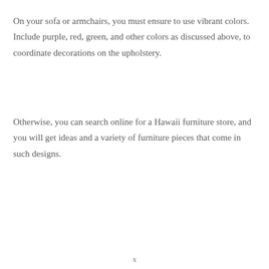On your sofa or armchairs, you must ensure to use vibrant colors. Include purple, red, green, and other colors as discussed above, to coordinate decorations on the upholstery.
Otherwise, you can search online for a Hawaii furniture store, and you will get ideas and a variety of furniture pieces that come in such designs.
x